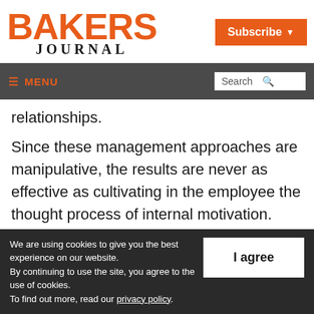BAKERS JOURNAL
[Figure (logo): Bakers Journal logo with orange bold BAKERS text and serif JOURNAL text below]
[Figure (other): Subscribe button with orange background and dropdown arrow]
MENU | Search
relationships.
Since these management approaches are manipulative, the results are never as effective as cultivating in the employee the thought process of internal motivation. Manipulative
We are using cookies to give you the best experience on our website.
By continuing to use the site, you agree to the use of cookies.
To find out more, read our privacy policy.